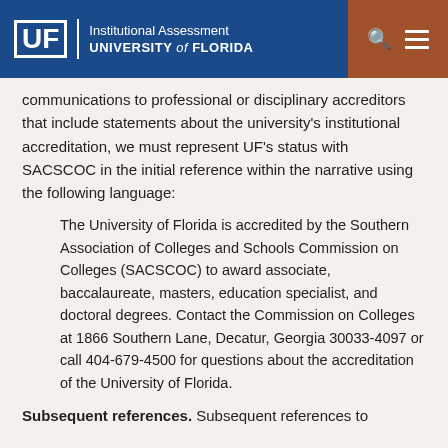UF | Institutional Assessment UNIVERSITY of FLORIDA
communications to professional or disciplinary accreditors that include statements about the university's institutional accreditation, we must represent UF's status with SACSCOC in the initial reference within the narrative using the following language:
The University of Florida is accredited by the Southern Association of Colleges and Schools Commission on Colleges (SACSCOC) to award associate, baccalaureate, masters, education specialist, and doctoral degrees. Contact the Commission on Colleges at 1866 Southern Lane, Decatur, Georgia 30033-4097 or call 404-679-4500 for questions about the accreditation of the University of Florida.
Subsequent references. Subsequent references to